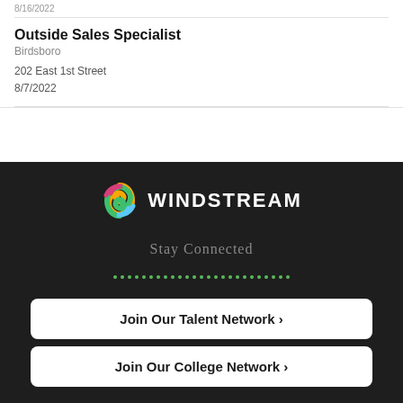8/16/2022
Outside Sales Specialist
Birdsboro
202 East 1st Street
8/7/2022
[Figure (logo): Windstream logo with colorful swirl icon and white WINDSTREAM text on dark background]
Stay Connected
Join Our Talent Network >
Join Our College Network >